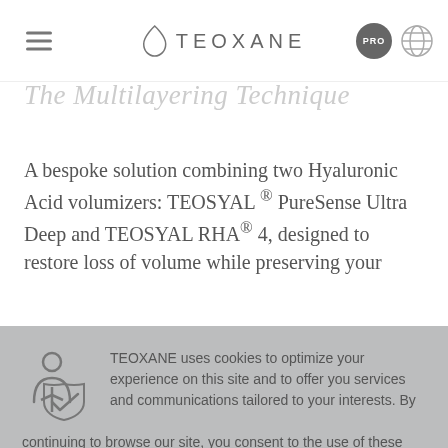TEOXANE
The Multilayering Technique
A bespoke solution combining two Hyaluronic Acid volumizers: TEOSYAL ® PureSense Ultra Deep and TEOSYAL RHA® 4, designed to restore loss of volume while preserving your
TEOXANE uses cookies to optimize your experience on this site and to offer you services and communications tailored to your interests. By continuing to browse our site, you consent to the use of these cookies. You can oppose this use by clicking here
ACCEPT ALL   Privacy policy